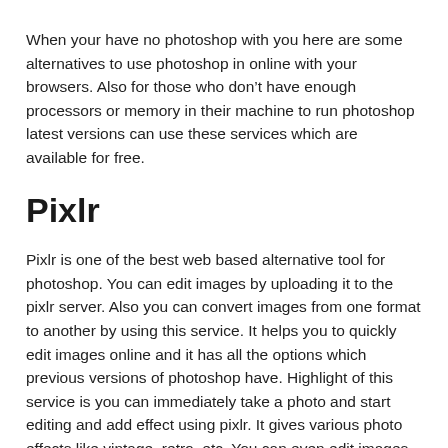When your have no photoshop with you here are some alternatives to use photoshop in online with your browsers. Also for those who don't have enough processors or memory in their machine to run photoshop latest versions can use these services which are available for free.
Pixlr
Pixlr is one of the best web based alternative tool for photoshop. You can edit images by uploading it to the pixlr server. Also you can convert images from one format to another by using this service. It helps you to quickly edit images online and it has all the options which previous versions of photoshop have. Highlight of this service is you can immediately take a photo and start editing and add effect using pixlr. It gives various photo effects like vintage, retro, etc. You can even edit images which are present in another websites by using that url. Also you can edit images from social media sites like facebook also from